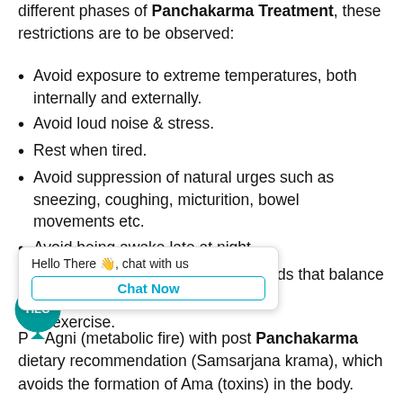...rejuvenate the body or to treat the disease, if any. During different phases of Panchakarma Treatment, these restrictions are to be observed:
Avoid exposure to extreme temperatures, both internally and externally.
Avoid loud noise & stress.
Rest when tired.
Avoid suppression of natural urges such as sneezing, coughing, micturition, bowel movements etc.
Avoid being awake late at night.
Avoid indigestible foods; favour foods that balance ...exercise.
P... Agni (metabolic fire) with post Panchakarma dietary recommendation (Samsarjana krama), which avoids the formation of Ama (toxins) in the body.